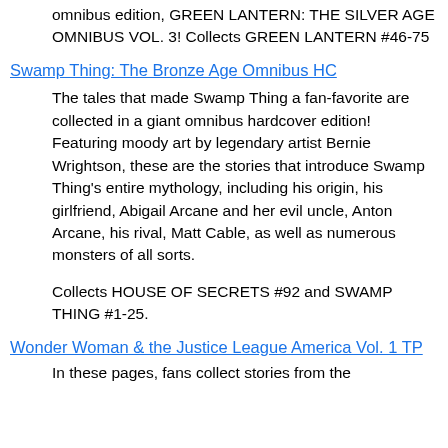omnibus edition, GREEN LANTERN: THE SILVER AGE OMNIBUS VOL. 3! Collects GREEN LANTERN #46-75
Swamp Thing: The Bronze Age Omnibus HC
The tales that made Swamp Thing a fan-favorite are collected in a giant omnibus hardcover edition! Featuring moody art by legendary artist Bernie Wrightson, these are the stories that introduce Swamp Thing's entire mythology, including his origin, his girlfriend, Abigail Arcane and her evil uncle, Anton Arcane, his rival, Matt Cable, as well as numerous monsters of all sorts.
Collects HOUSE OF SECRETS #92 and SWAMP THING #1-25.
Wonder Woman & the Justice League America Vol. 1 TP
In these pages, fans collect stories from the